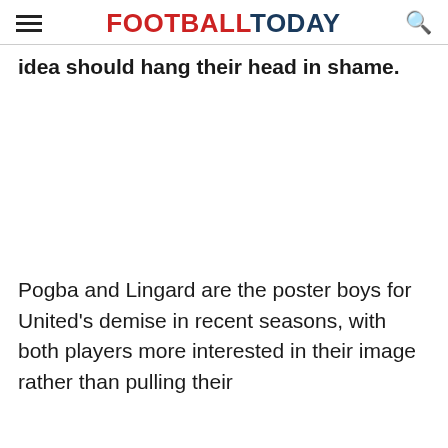FOOTBALL TODAY
idea should hang their head in shame.
Pogba and Lingard are the poster boys for United's demise in recent seasons, with both players more interested in their image rather than pulling their